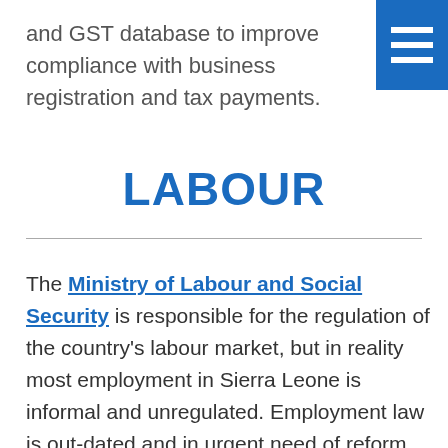and GST database to improve compliance with business registration and tax payments.
LABOUR
The Ministry of Labour and Social Security is responsible for the regulation of the country's labour market, but in reality most employment in Sierra Leone is informal and unregulated. Employment law is out-dated and in urgent need of reform.